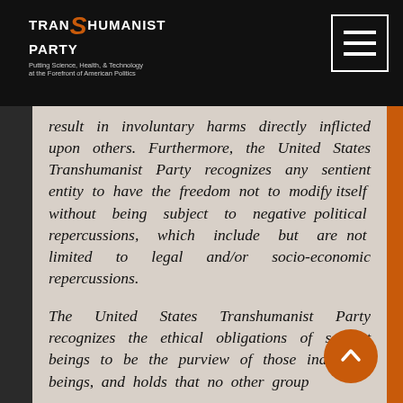[Figure (logo): Transhumanist Party logo with text 'Putting Science, Health, & Technology at the Forefront of American Politics']
result in involuntary harms directly inflicted upon others. Furthermore, the United States Transhumanist Party recognizes any sentient entity to have the freedom not to modify itself without being subject to negative political repercussions, which include but are not limited to legal and/or socio-economic repercussions.
The United States Transhumanist Party recognizes the ethical obligations of sapient beings to be the purview of those individual beings, and holds that no other group